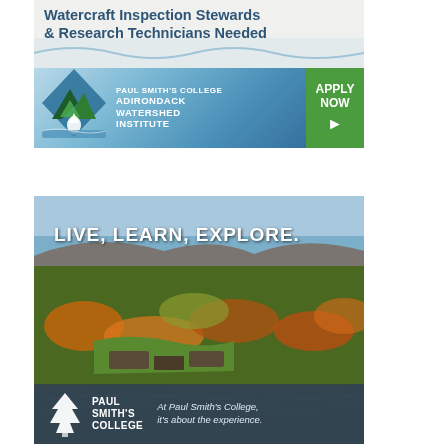[Figure (illustration): Advertisement for Paul Smith's College Adirondack Watershed Institute. Top section has text 'Watercraft Inspection Stewards & Research Technicians Needed' on light background. Bottom section has blue water/mountain logo with 'Paul Smith's College Adirondack Watershed Institute' text and a green 'Apply Now >' button.]
[Figure (photo): Advertisement for Paul Smith's College. Aerial photo of Paul Smith's College campus surrounded by autumn foliage and a lake. Text overlay 'Live, Learn, Explore.' at top in white. Bottom bar with Paul Smith's College tree logo and tagline 'At Paul Smith's College, it's about the experience.']